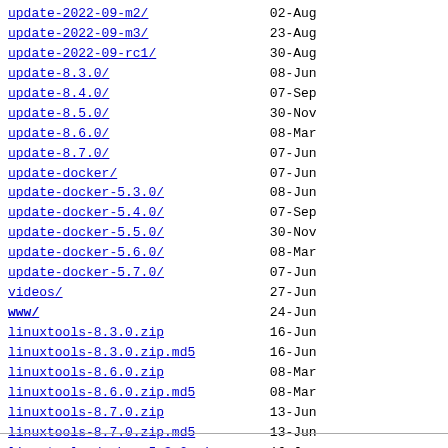update-2022-09-m2/  02-Aug
update-2022-09-m3/  23-Aug
update-2022-09-rc1/  30-Aug
update-8.3.0/  08-Jun
update-8.4.0/  07-Sep
update-8.5.0/  30-Nov
update-8.6.0/  08-Mar
update-8.7.0/  07-Jun
update-docker/  07-Jun
update-docker-5.3.0/  08-Jun
update-docker-5.4.0/  07-Sep
update-docker-5.5.0/  30-Nov
update-docker-5.6.0/  08-Mar
update-docker-5.7.0/  07-Jun
videos/  27-Jun
www/  24-Jun
linuxtools-8.3.0.zip  16-Jun
linuxtools-8.3.0.zip.md5  16-Jun
linuxtools-8.6.0.zip  08-Mar
linuxtools-8.6.0.zip.md5  08-Mar
linuxtools-8.7.0.zip  13-Jun
linuxtools-8.7.0.zip.md5  13-Jun
linuxtools-docker-5.3.0.zip  16-Jun
linuxtools-docker-5.3.0.zip.md5  16-Jun
linuxtools-docker-5.6.0.zip  08-Mar
linuxtools-docker-5.6.0.zip.md5  08-Mar
linuxtools-docker-5.7.0.zip  13-Jun
linuxtools-docker-5.7.0.zip.md5  13-Jun